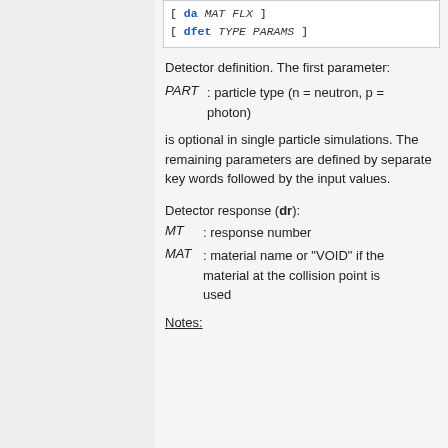[ da MAT FLX ]
[ dfet TYPE PARAMS ]
Detector definition. The first parameter:
PART : particle type (n = neutron, p = photon)
is optional in single particle simulations. The remaining parameters are defined by separate key words followed by the input values.
Detector response (dr):
MT : response number
MAT : material name or "VOID" if the material at the collision point is used
Notes:
...